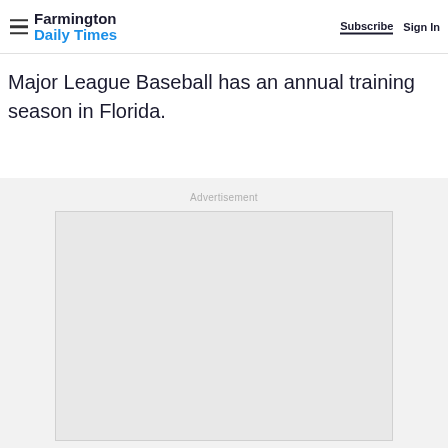Farmington Daily Times — Subscribe | Sign In
Major League Baseball has an annual training season in Florida.
[Figure (other): Advertisement placeholder box with light gray background and border, labeled 'Advertisement' above it.]